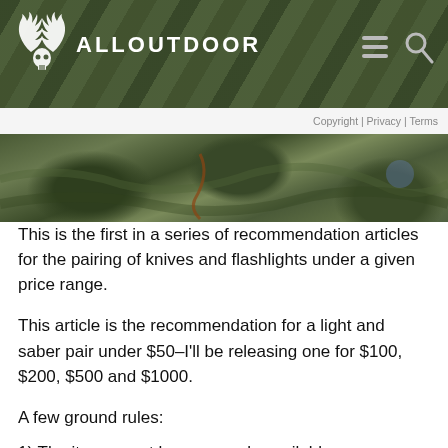ALLOUTDOOR
Copyright | Privacy | Terms
[Figure (photo): Outdoor nature photo showing rocks, moss, and forest floor elements]
This is the first in a series of recommendation articles for the pairing of knives and flashlights under a given price range.
This article is the recommendation for a light and saber pair under $50–I'll be releasing one for $100, $200, $500 and $1000.
A few ground rules:
1) The items must be commonly available;
2) I am going assume general utility EDC tasks; and
3) I am going to assume that you want a balance between the items, as a $40 knife and a $9 light doesn't seem to be the wisest way to allocate resources